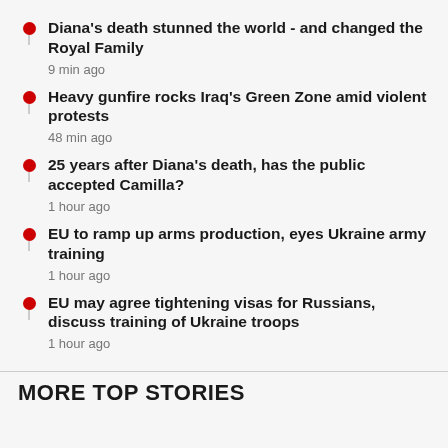Diana's death stunned the world - and changed the Royal Family
9 min ago
Heavy gunfire rocks Iraq's Green Zone amid violent protests
48 min ago
25 years after Diana's death, has the public accepted Camilla?
1 hour ago
EU to ramp up arms production, eyes Ukraine army training
1 hour ago
EU may agree tightening visas for Russians, discuss training of Ukraine troops
1 hour ago
MORE TOP STORIES